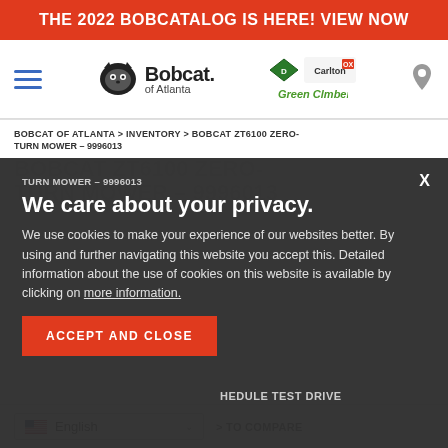THE 2022 BOBCATALOG IS HERE! VIEW NOW
[Figure (logo): Bobcat of Atlanta logo with hamburger menu, partner logos (Diamond, Carlton OX, Green Climber), and location icon]
BOBCAT OF ATLANTA > INVENTORY > BOBCAT ZT6100 ZERO-TURN MOWER – 9996013
BOBCAT ZT6100 ZERO-TURN MOWER – 9996013
We care about your privacy.
We use cookies to make your experience of our websites better. By using and further navigating this website you accept this. Detailed information about the use of cookies on this website is available by clicking on more information.
ACCEPT AND CLOSE
SCHEDULE TEST DRIVE
English
TO COMPARE